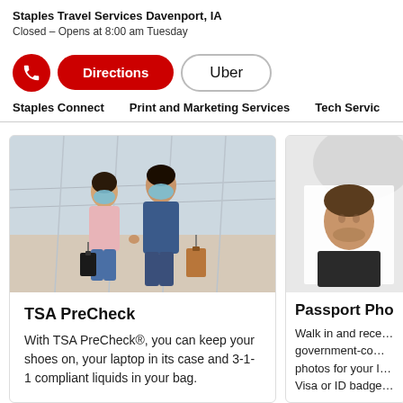Staples Travel Services Davenport, IA
Closed – Opens at 8:00 am Tuesday
Directions | Uber
Staples Connect   Print and Marketing Services   Tech Services
[Figure (photo): Two people wearing face masks walking through an airport terminal with rolling luggage]
TSA PreCheck
With TSA PreCheck®, you can keep your shoes on, your laptop in its case and 3-1-1 compliant liquids in your bag.
[Figure (photo): Partial view of a man's passport photo against a light grey background]
Passport Pho…
Walk in and receive government-co… photos for your I… Visa or ID badge…